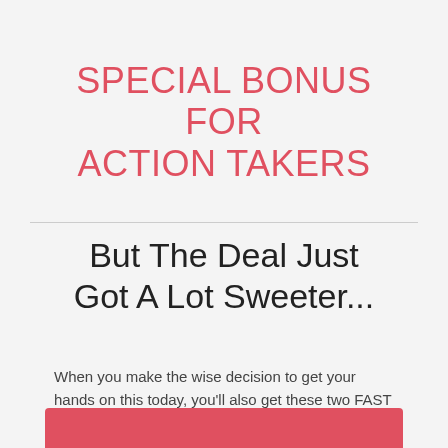SPECIAL BONUS FOR ACTION TAKERS
But The Deal Just Got A Lot Sweeter...
When you make the wise decision to get your hands on this today, you'll also get these two FAST ACTION Bonuses...
[Figure (other): Red banner/bar at bottom of page, partially cropped]